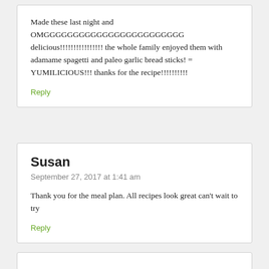Made these last night and OMGGGGGGGGGGGGGGGGGGGGGGGG delicious!!!!!!!!!!!!!!!! the whole family enjoyed them with adamame spagetti and paleo garlic bread sticks! = YUMILICIOUS!!! thanks for the recipe!!!!!!!!!!
Reply
Susan
September 27, 2017 at 1:41 am
Thank you for the meal plan. All recipes look great can't wait to try
Reply